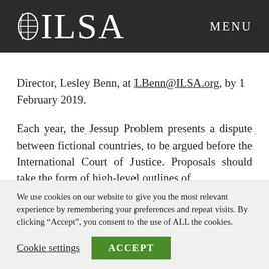ILSA  MENU
Director, Lesley Benn, at LBenn@ILSA.org, by 1 February 2019.
Each year, the Jessup Problem presents a dispute between fictional countries, to be argued before the International Court of Justice. Proposals should take the form of high-level outlines of
We use cookies on our website to give you the most relevant experience by remembering your preferences and repeat visits. By clicking “Accept”, you consent to the use of ALL the cookies.
Cookie settings  ACCEPT